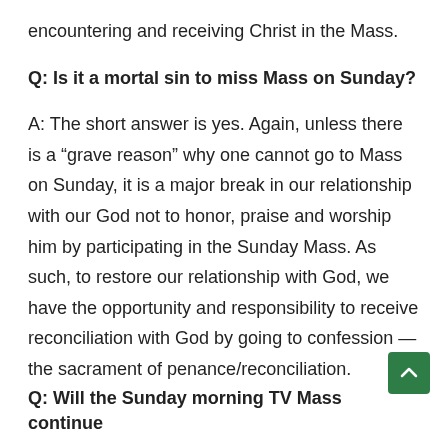encountering and receiving Christ in the Mass.
Q: Is it a mortal sin to miss Mass on Sunday?
A: The short answer is yes. Again, unless there is a “grave reason” why one cannot go to Mass on Sunday, it is a major break in our relationship with our God not to honor, praise and worship him by participating in the Sunday Mass. As such, to restore our relationship with God, we have the opportunity and responsibility to receive reconciliation with God by going to confession — the sacrament of penance/reconciliation.
Q: Will the Sunday morning TV Mass continue